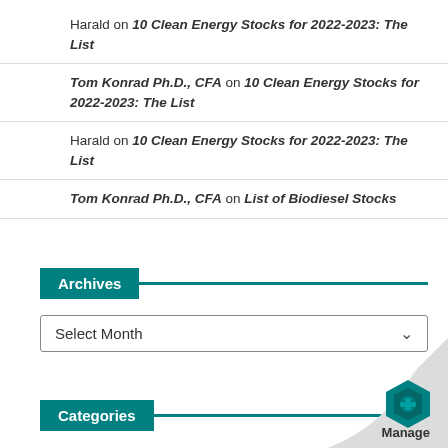Harald on 10 Clean Energy Stocks for 2022-2023: The List
Tom Konrad Ph.D., CFA on 10 Clean Energy Stocks for 2022-2023: The List
Harald on 10 Clean Energy Stocks for 2022-2023: The List
Tom Konrad Ph.D., CFA on List of Biodiesel Stocks
Archives
Select Month
Categories